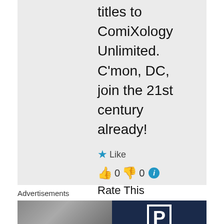titles to ComiXology Unlimited. C'mon, DC, join the 21st century already!
★ Like
👍 0 👎 0 ℹ
Rate This
↳ Reply
Advertisements
[Figure (photo): Advertisement banner with a photo on the left and dark blue background with white letter P on the right]